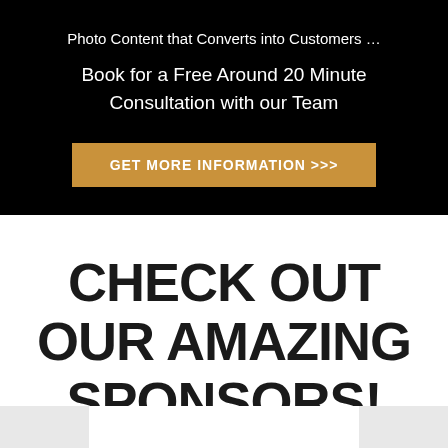Photo Content that Converts into Customers ...
Book for a Free Around 20 Minute Consultation with our Team
GET MORE INFORMATION >>>
CHECK OUT OUR AMAZING SPONSORS!